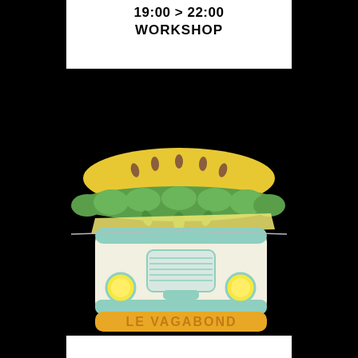19:00 > 22:00
WORKSHOP
[Figure (illustration): Cartoon illustration of a food truck styled as a burger/sandwich, with a yellow bun on top, green lettuce, cheese, and a cream-colored truck body with teal accents, round yellow headlights, a grille, and 'LE VAGABOND' text on an orange bumper area at the bottom.]